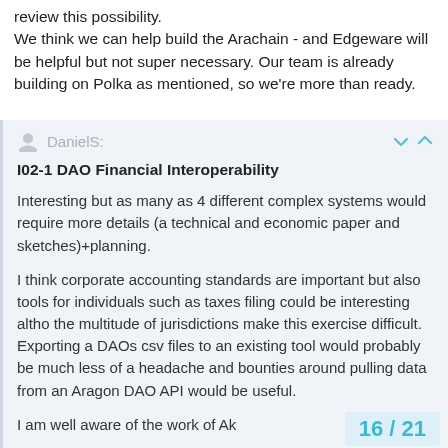review this possibility.
We think we can help build the Arachain - and Edgeware will be helpful but not super necessary. Our team is already building on Polka as mentioned, so we're more than ready.
DanielS:
I02-1 DAO Financial Interoperability
Interesting but as many as 4 different complex systems would require more details (a technical and economic paper and sketches)+planning.
I think corporate accounting standards are important but also tools for individuals such as taxes filing could be interesting altho the multitude of jurisdictions make this exercise difficult. Exporting a DAOs csv files to an existing tool would probably be much less of a headache and bounties around pulling data from an Aragon DAO API would be useful.
I am well aware of the work of Ak
16 / 21